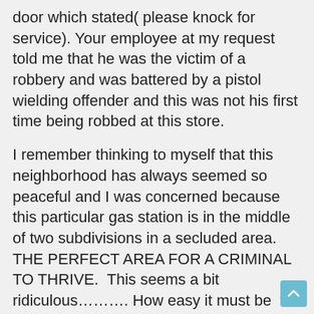door which stated( please knock for service). Your employee at my request told me that he was the victim of a robbery and was battered by a pistol wielding offender and this was not his first time being robbed at this store.
I remember thinking to myself that this neighborhood has always seemed so peaceful and I was concerned because this particular gas station is in the middle of two subdivisions in a secluded area. THE PERFECT AREA FOR A CRIMINAL TO THRIVE.  This seems a bit ridiculous………. How easy it must be  for a Thief to get away with a crime in such an area.
Last night Friday August 31st  at 10:15pm the 15705 Classen Rd, San Antonio, TX 78247 Location was robbed once again and the Employee working, a blonde haired  girl with glasses maybe 26 years of age was alone and has her life threatened by a gun toting thug who